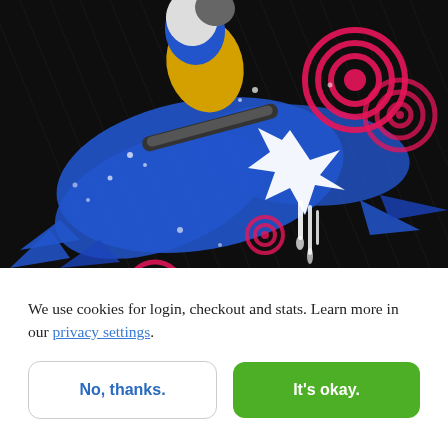[Figure (illustration): Artistic illustration of a snowboarder mid-air with blue paint splashes, pink concentric circle designs, and white drip effects on a dark background.]
We use cookies for login, checkout and stats. Learn more in our privacy settings.